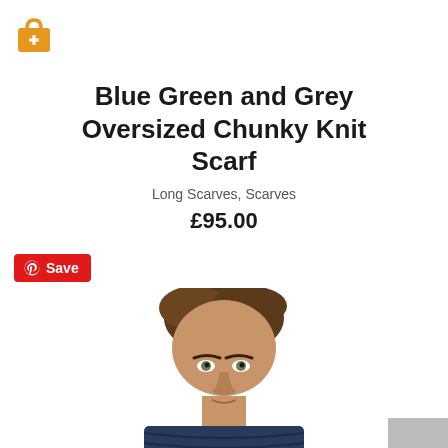[Figure (logo): Orange shopping bag icon with a plus sign]
Blue Green and Grey Oversized Chunky Knit Scarf
Long Scarves, Scarves
£95.00
[Figure (other): Red Pinterest Save button]
[Figure (photo): Close-up photo of a man from shoulders up wearing a chunky knit scarf, white background]